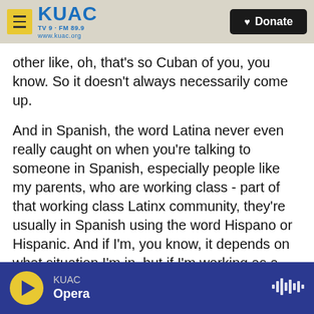KUAC TV 9 · FM 89.9 www.kuac.org | Donate
other like, oh, that's so Cuban of you, you know. So it doesn't always necessarily come up.
And in Spanish, the word Latina never even really caught on when you're talking to someone in Spanish, especially people like my parents, who are working class - part of that working class Latinx community, they're usually in Spanish using the word Hispano or Hispanic. And if I'm, you know, it depends on what situation I'm in, but if I'm working as a journalist and I'm talking to someone, I'm listening and - for the words that they're using. So if they're using Hispano, I use that too. I don't feel like,
KUAC | Opera